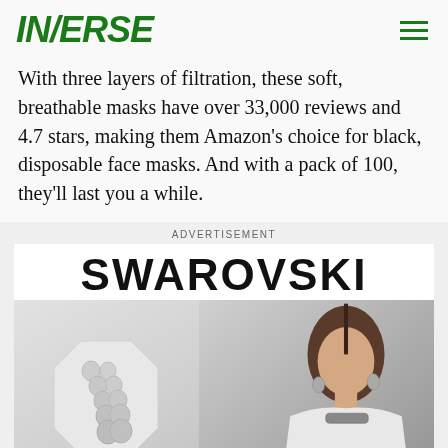INVERSE
With three layers of filtration, these soft, breathable masks have over 33,000 reviews and 4.7 stars, making them Amazon's choice for black, disposable face masks. And with a pack of 100, they'll last you a while.
ADVERTISEMENT
[Figure (photo): Swarovski advertisement featuring crystal jewelry (earrings/ear climbers) on the left against a light octagonal background, and a model wearing Swarovski jewellery including a choker necklace, earrings, and bracelets on the right.]